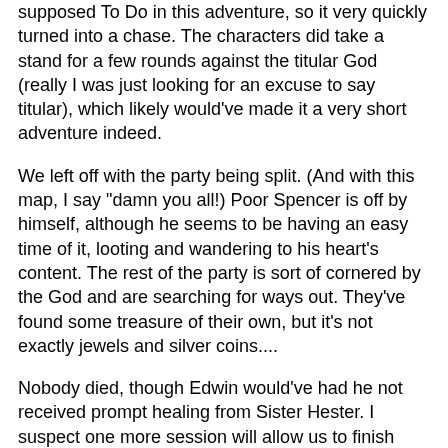supposed to do in this adventure, so it very quickly turned into a chase. The characters did take a stand for a few rounds against the titular God (really I was just looking for an excuse to say titular), which likely would've made it a very short adventure indeed.
We left off with the party being split. (And with this map, I say "damn you all!) Poor Spencer is off by himself, although he seems to be having an easy time of it, looting and wandering to his heart's content. The rest of the party is sort of cornered by the God and are searching for ways out. They've found some treasure of their own, but it's not exactly jewels and silver coins....
Nobody died, though Edwin would've had he not received prompt healing from Sister Hester. I suspect one more session will allow us to finish things up, for good or ill.
Oh, and the players learned the big secret, thanks to ingenious use of things found in the dungeon by Kurt.
A few things to note: